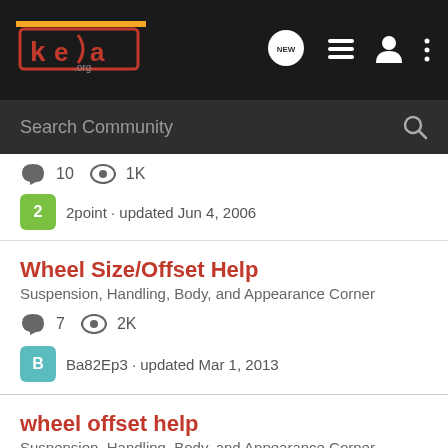[Figure (screenshot): keo.org community forum navigation bar with logo and icons]
Search Community
10  1K
2point · updated Jun 4, 2006
Wheel Size/Offset Help
Suspension, Handling, Body, and Appearance Corner
7  2K
Ba82Ep3 · updated Mar 1, 2013
wheel offset help
Suspension, Handling, Body, and Appearance Corner
9  3K
csimiller · updated Sep 28, 2011